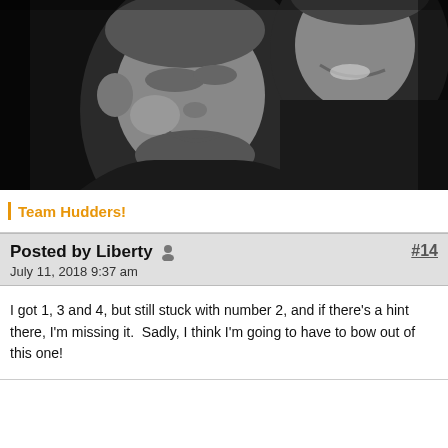[Figure (photo): Black and white photo of two people laughing/smiling together, cropped close, one person in foreground looking down with short dark hair and a necklace/cross, second person visible behind them also smiling.]
Team Hudders!
Posted by Liberty
July 11, 2018 9:37 am
I got 1, 3 and 4, but still stuck with number 2, and if there's a hint there, I'm missing it.  Sadly, I think I'm going to have to bow out of this one!